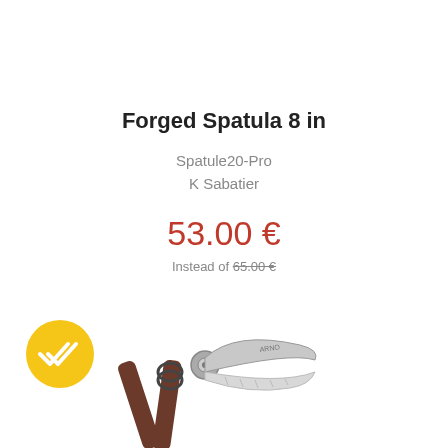Forged Spatula 8 in
Spatule20-Pro
K Sabatier
53.00 €
Instead of 65.00 €
[Figure (photo): Pruning shears / secateurs with brown wooden handles and silver metal body, shown at an angle on white background. A yellow circular badge with a double-checkmark icon is visible in the lower-left corner.]